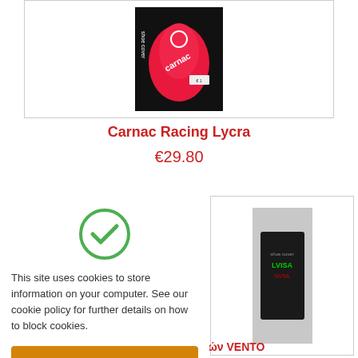[Figure (photo): Carnac Racing Lycra shoe cover product photo in black packaging]
Carnac Racing Lycra
€29.80
[Figure (illustration): Green circle with checkmark icon for cookie consent]
This site uses cookies to store information on your computer. See our cookie policy for further details on how to block cookies.
I am happy with this
[Figure (photo): Second cycling product photo]
Καλύμματα παπουτσιών VENTO